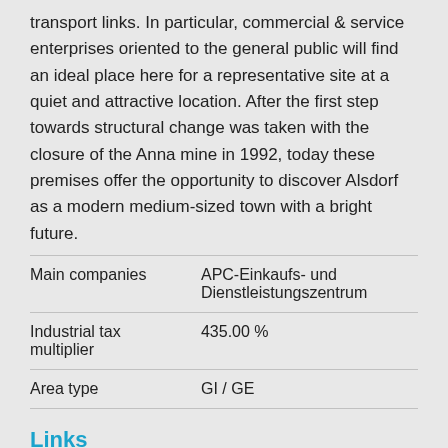transport links. In particular, commercial & service enterprises oriented to the general public will find an ideal place here for a representative site at a quiet and attractive location. After the first step towards structural change was taken with the closure of the Anna mine in 1992, today these premises offer the opportunity to discover Alsdorf as a modern medium-sized town with a bright future.
| Main companies | APC-Einkaufs- und Dienstleistungszentrum |
| Industrial tax multiplier | 435.00 % |
| Area type | GI / GE |
Links
https://www.gistra.de